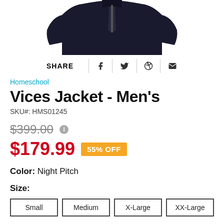[Figure (photo): Partial view of a dark navy/black men's jacket (bottom portion), cropped at top of page]
SHARE | f | (twitter bird) | (pinterest) | (envelope)
Homeschool
Vices Jacket - Men's
SKU#: HMS01245
$399.00 (strikethrough) i
$179.99  55% OFF
Color: Night Pitch
Size:
Small
Medium
X-Large
XX-Large